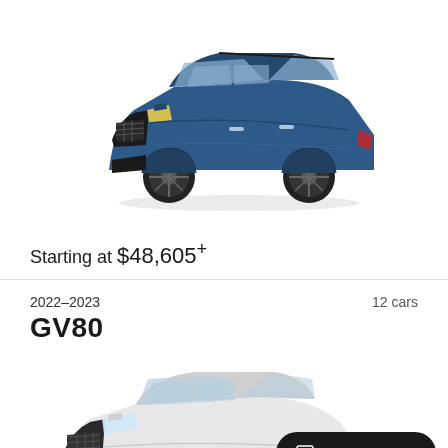[Figure (photo): Blue Genesis GV70 SUV shown in 3/4 front view on white background]
Starting at $48,605*
2022–2023
GV80
12 cars
[Figure (photo): White Genesis GV80 SUV shown in 3/4 front view, partially visible]
NEED HELP?